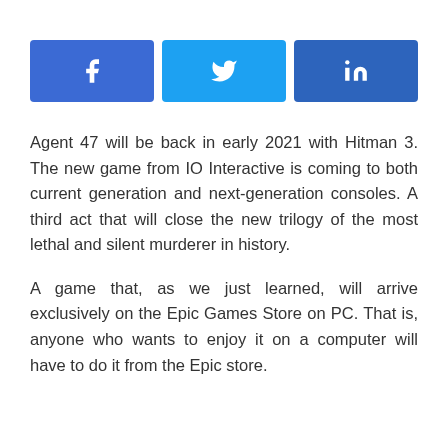[Figure (infographic): Three social media share buttons: Facebook (blue), Twitter (light blue), LinkedIn (dark blue), each with their respective icons in white.]
Agent 47 will be back in early 2021 with Hitman 3. The new game from IO Interactive is coming to both current generation and next-generation consoles. A third act that will close the new trilogy of the most lethal and silent murderer in history.
A game that, as we just learned, will arrive exclusively on the Epic Games Store on PC. That is, anyone who wants to enjoy it on a computer will have to do it from the Epic store.